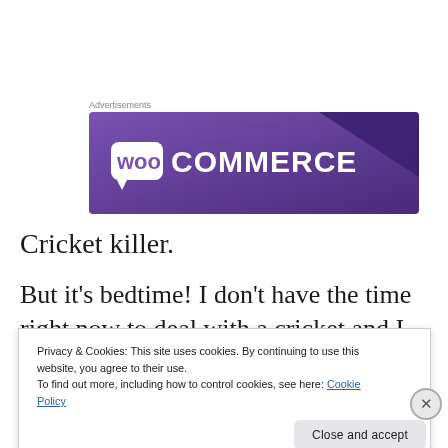Advertisements
[Figure (logo): WooCommerce advertisement banner with purple gradient background and white WooCommerce logo text]
Cricket killer.
But it's bedtime! I don't have the time right now to deal with a cricket and I lost my patience right after dinner
Privacy & Cookies: This site uses cookies. By continuing to use this website, you agree to their use.
To find out more, including how to control cookies, see here: Cookie Policy
Close and accept